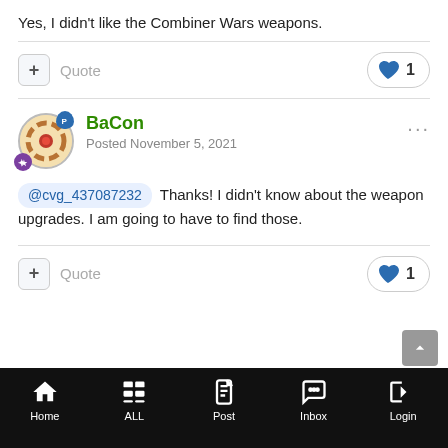Yes, I didn't like the Combiner Wars weapons.
+ Quote | ♥ 1
BaCon
Posted November 5, 2021
@cvg_437087232 Thanks! I didn't know about the weapon upgrades. I am going to have to find those.
+ Quote | ♥ 1
Home | ALL | Post | Inbox | Login